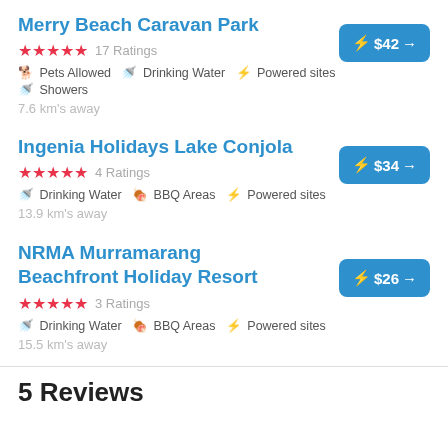Merry Beach Caravan Park
★★★★★ 17 Ratings
🐕 Pets Allowed 🚿 Drinking Water ⚡ Powered sites 🚿 Showers
7.6 km's away
⚡ $42 →
Ingenia Holidays Lake Conjola
★★★★★ 4 Ratings
🚿 Drinking Water 🍖 BBQ Areas ⚡ Powered sites
13.9 km's away
⚡ $34 →
NRMA Murramarang Beachfront Holiday Resort
★★★★★ 3 Ratings
🚿 Drinking Water 🍖 BBQ Areas ⚡ Powered sites
15.5 km's away
⚡ $26 →
5 Reviews